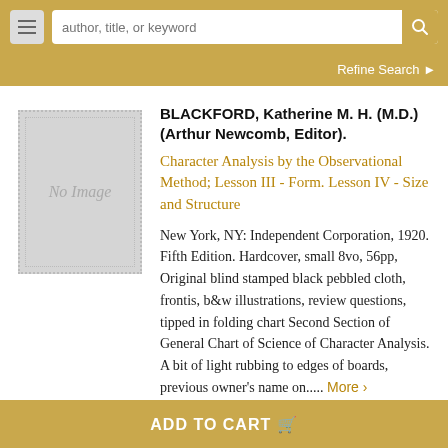[Figure (screenshot): Website navigation bar with hamburger menu, search box with placeholder 'author, title, or keyword', and search button on a gold background]
Refine Search ❯
[Figure (illustration): No Image placeholder — grey rectangle with dotted border]
BLACKFORD, Katherine M. H. (M.D.) (Arthur Newcomb, Editor).
Character Analysis by the Observational Method; Lesson III - Form. Lesson IV - Size and Structure
New York, NY: Independent Corporation, 1920. Fifth Edition. Hardcover, small 8vo, 56pp, Original blind stamped black pebbled cloth, frontis, b&w illustrations, review questions, tipped in folding chart Second Section of General Chart of Science of Character Analysis. A bit of light rubbing to edges of boards, previous owner's name on.....  More ›
ADD TO CART 🛒